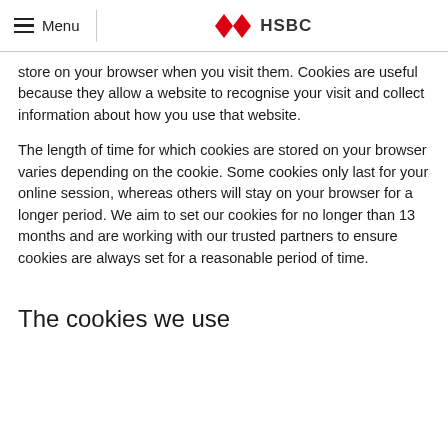Menu | HSBC
store on your browser when you visit them. Cookies are useful because they allow a website to recognise your visit and collect information about how you use that website.
The length of time for which cookies are stored on your browser varies depending on the cookie. Some cookies only last for your online session, whereas others will stay on your browser for a longer period. We aim to set our cookies for no longer than 13 months and are working with our trusted partners to ensure cookies are always set for a reasonable period of time.
The cookies we use